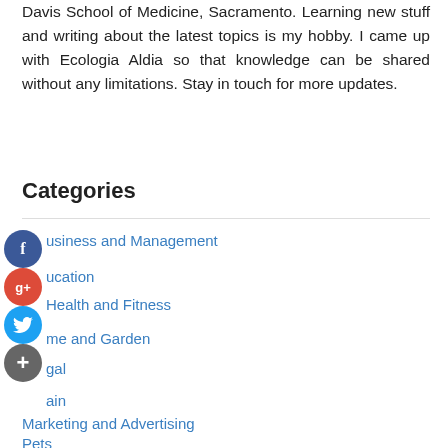Davis School of Medicine, Sacramento. Learning new stuff and writing about the latest topics is my hobby. I came up with Ecologia Aldia so that knowledge can be shared without any limitations. Stay in touch for more updates.
Categories
Business and Management
Education
Health and Fitness
Home and Garden
Legal
Main
Marketing and Advertising
Pets